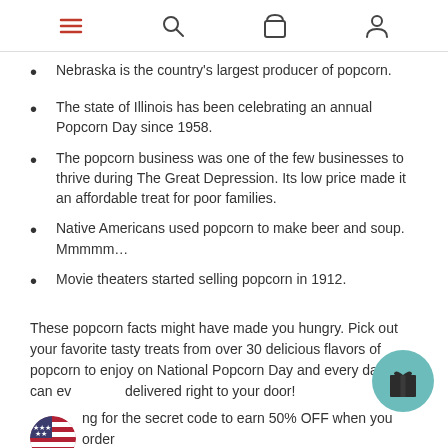[navigation icons: menu, search, cart, account]
Nebraska is the country's largest producer of popcorn.
The state of Illinois has been celebrating an annual Popcorn Day since 1958.
The popcorn business was one of the few businesses to thrive during The Great Depression. Its low price made it an affordable treat for poor families.
Native Americans used popcorn to make beer and soup. Mmmmm…
Movie theaters started selling popcorn in 1912.
These popcorn facts might have made you hungry. Pick out your favorite tasty treats from over 30 delicious flavors of popcorn to enjoy on National Popcorn Day and every day. You can even get it delivered right to your door!
ng for the secret code to earn 50% OFF when you order